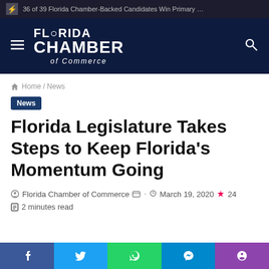36 of 39 Florida Chamber-Backed Candidates Win Primary …
[Figure (logo): Florida Chamber of Commerce logo — white text on dark navy background with hamburger menu on left and search icon on right]
Home / News
News
Florida Legislature Takes Steps to Keep Florida's Momentum Going
Florida Chamber of Commerce · March 19, 2020 · 24
2 minutes read